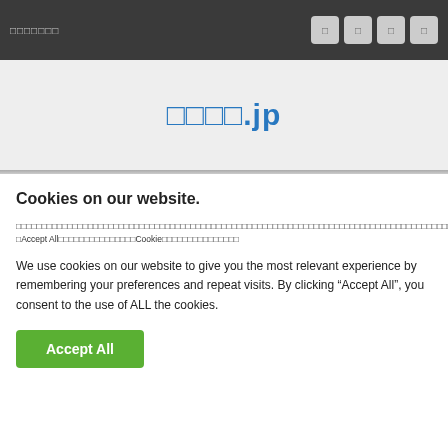□□□□□□□
[Figure (screenshot): Navigation bar with four square icon buttons on the right side]
□□□□.jp
Cookies on our website.
□□□□□□□□□□□□□□□□□□□□□□□□□□□□□□□□□□□□□□□□□□□□□□□□□□□□□□□□□□□□□□□□□□□□□□□□□□□□□□□□□□□□□□□□□□□□□□□□□□□□□□□□□□□□□□□□□□□□□□□□□□ □Accept All□□□□□□□□□□□□□□□Cookie□□□□□□□□□□□□□□□
We use cookies on our website to give you the most relevant experience by remembering your preferences and repeat visits. By clicking “Accept All”, you consent to the use of ALL the cookies.
Accept All